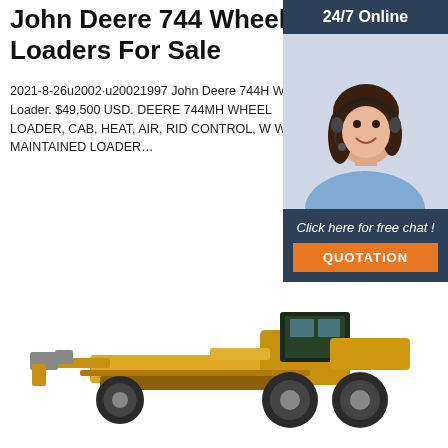John Deere 744 Wheel Loaders For Sale
2021-8-26u2002·u20021997 John Deere 744H Wheel Loader. $49,500 USD. DEERE 744MH WHEEL LOADER, CAB, HEAT, AIR, RID CONTROL, W WELL MAINTAINED LOADER…
[Figure (other): Orange 'Get Price' button]
[Figure (other): Sidebar with '24/7 Online' header, photo of woman with headset, 'Click here for free chat!' text, and orange 'QUOTATION' button]
[Figure (photo): Yellow heavy construction machine / motor grader photographed from the side against a white background]